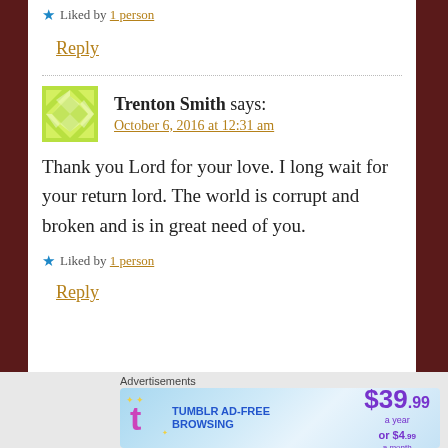★ Liked by 1 person
Reply
Trenton Smith says: October 6, 2016 at 12:31 am
Thank you Lord for your love. I long wait for your return lord. The world is corrupt and broken and is in great need of you.
★ Liked by 1 person
Reply
[Figure (screenshot): Tumblr Ad-Free Browsing advertisement banner: $39.99 a year or $4.99 a month]